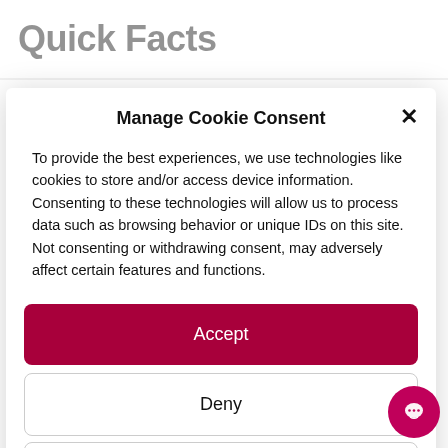Quick Facts
Manage Cookie Consent
To provide the best experiences, we use technologies like cookies to store and/or access device information. Consenting to these technologies will allow us to process data such as browsing behavior or unique IDs on this site. Not consenting or withdrawing consent, may adversely affect certain features and functions.
Accept
Deny
View preferences
Cookie Policy   Privacy Policy